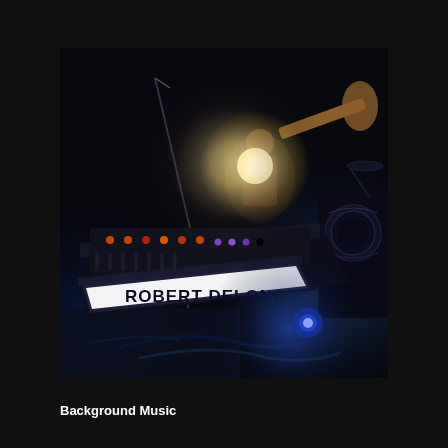[Figure (photo): Concert performance photo of Robert DeLong at a mixing board/synthesizer setup on stage. A brightly lit panel reads 'ROBERT DELONG' in white letters. A performer is visible in the background holding a guitar under a bright stage light. Various equipment, cables, and drum hardware are visible in a dark venue setting with blue stage lighting.]
Background Music